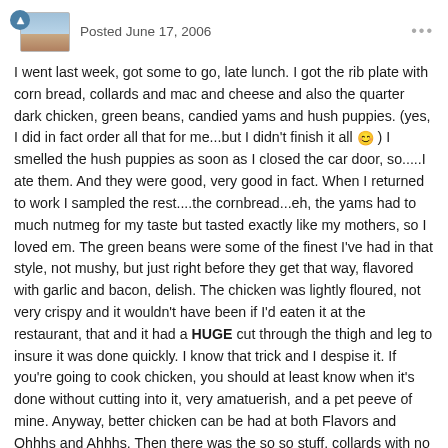Posted June 17, 2006
I went last week, got some to go, late lunch. I got the rib plate with corn bread, collards and mac and cheese and also the quarter dark chicken, green beans, candied yams and hush puppies. (yes, I did in fact order all that for me...but I didn't finish it all 😊 ) I smelled the hush puppies as soon as I closed the car door, so.....I ate them. And they were good, very good in fact. When I returned to work I sampled the rest....the cornbread...eh, the yams had to much nutmeg for my taste but tasted exactly like my mothers, so I loved em. The green beans were some of the finest I've had in that style, not mushy, but just right before they get that way, flavored with garlic and bacon, delish. The chicken was lightly floured, not very crispy and it wouldn't have been if I'd eaten it at the restaurant, that and it had a HUGE cut through the thigh and leg to insure it was done quickly. I know that trick and I despise it. If you're going to cook chicken, you should at least know when it's done without cutting into it, very amatuerish, and a pet peeve of mine. Anyway, better chicken can be had at both Flavors and Ohhhs and Ahhhs. Then there was the so so stuff, collards with no vinegar, discernable flavor and they were still GREEN. Ribs were tough and covered in a gloppy sauce. I did love